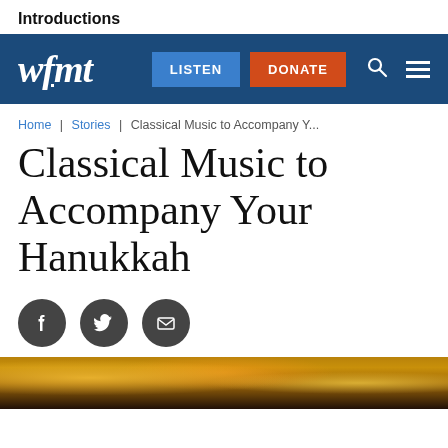Introductions
[Figure (screenshot): WFMT website navigation bar with logo, LISTEN button, DONATE button, search icon, and hamburger menu on dark blue background]
Home | Stories | Classical Music to Accompany Y...
Classical Music to Accompany Your Hanukkah
[Figure (infographic): Social sharing icons: Facebook, Twitter, Email]
[Figure (photo): Bottom portion of a Hanukkah-themed image with warm orange and gold bokeh lights and candles on dark background]